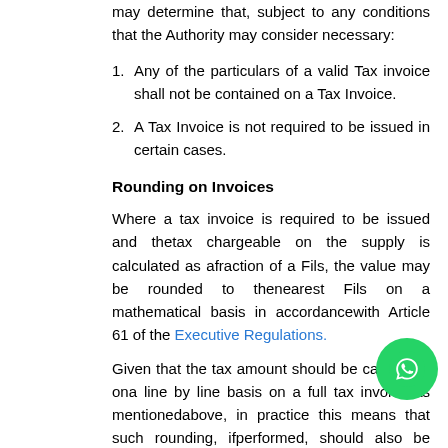may determine that, subject to any conditions that the Authority may consider necessary:
Any of the particulars of a valid Tax invoice shall not be contained on a Tax Invoice.
A Tax Invoice is not required to be issued in certain cases.
Rounding on Invoices
Where a tax invoice is required to be issued and thetax chargeable on the supply is calculated as afraction of a Fils, the value may be rounded to thenearest Fils on a mathematical basis in accordancewith Article 61 of the Executive Regulations.
Given that the tax amount should be calculated ona line by line basis on a full tax invoice as mentionedabove, in practice this means that such rounding, ifperformed, should also be undertaken on a line byline